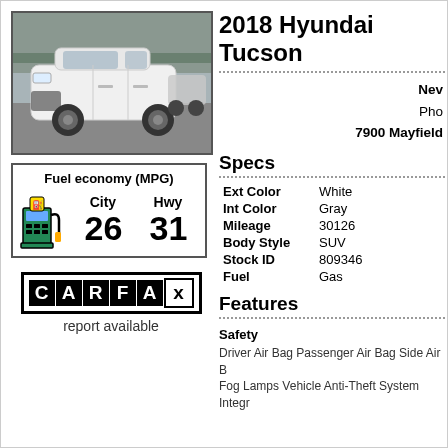[Figure (photo): White 2018 Hyundai Tucson SUV parked in a lot, front 3/4 view, with other vehicles in background]
[Figure (infographic): Fuel economy box showing City 26 MPG and Hwy 31 MPG with gas pump icon]
[Figure (logo): CARFAX logo with report available text below]
2018 Hyundai Tucson
New
Pho
7900 Mayfield
Specs
| Ext Color | White |
| Int Color | Gray |
| Mileage | 30126 |
| Body Style | SUV |
| Stock ID | 809346 |
| Fuel | Gas |
Features
Safety
Driver Air Bag Passenger Air Bag Side Air B... Fog Lamps Vehicle Anti-Theft System Integr...